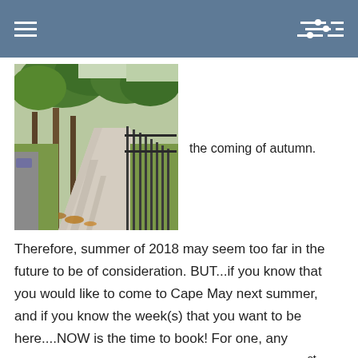[Figure (photo): A sidewalk lined with trees on a sunny day, with fallen leaves on the ground and a metal fence on the right side. Suggests the coming of autumn.]
the coming of autumn.
Therefore, summer of 2018 may seem too far in the future to be of consideration. BUT...if you know that you would like to come to Cape May next summer, and if you know the week(s) that you want to be here....NOW is the time to book! For one, any reservation made between now and December 1st will be placed on a 3